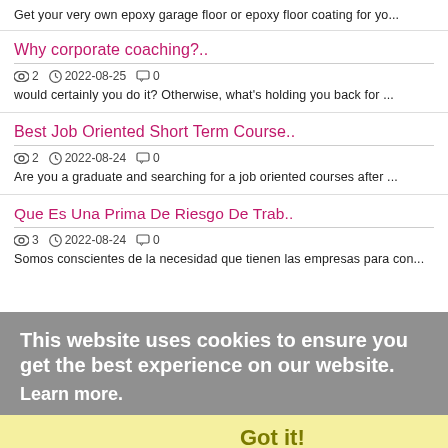Get your very own epoxy garage floor or epoxy floor coating for yo...
Why corporate coaching?..
👁 2  🕐 2022-08-25  💬 0
would certainly you do it? Otherwise, what's holding you back for ...
Best Job Oriented Short Term Course..
👁 2  🕐 2022-08-24  💬 0
Are you a graduate and searching for a job oriented courses after ...
Que Es Una Prima De Riesgo De Trab..
👁 3  🕐 2022-08-24  💬 0
Somos conscientes de la necesidad que tienen las empresas para con...
This website uses cookies to ensure you get the best experience on our website.
Learn more.
Got it!